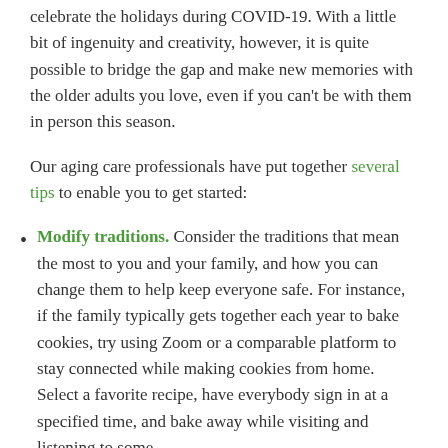celebrate the holidays during COVID-19. With a little bit of ingenuity and creativity, however, it is quite possible to bridge the gap and make new memories with the older adults you love, even if you can't be with them in person this season.
Our aging care professionals have put together several tips to enable you to get started:
Modify traditions. Consider the traditions that mean the most to you and your family, and how you can change them to help keep everyone safe. For instance, if the family typically gets together each year to bake cookies, try using Zoom or a comparable platform to stay connected while making cookies from home. Select a favorite recipe, have everybody sign in at a specified time, and bake away while visiting and listening to some